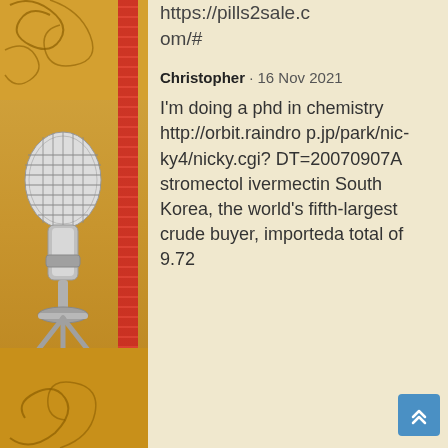https://pills2sale.com/#
Christopher · 16 Nov 2021
I'm doing a phd in chemistry http://orbit.raindrop.jp/park/nicky4/nicky.cgi?DT=20070907A stromectol ivermectin South Korea, the world's fifth-largest crude buyer, importeda total of 9.72 million tonnes of